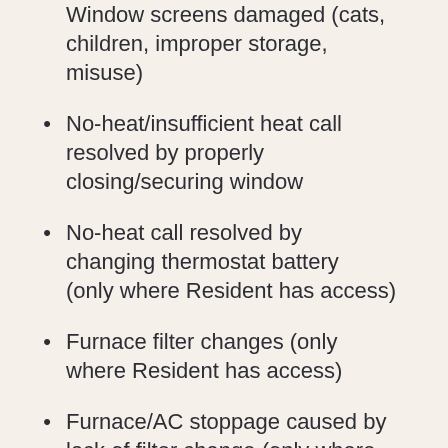Window screens damaged (cats, children, improper storage, misuse)
No-heat/insufficient heat call resolved by properly closing/securing window
No-heat call resolved by changing thermostat battery (only where Resident has access)
Furnace filter changes (only where Resident has access)
Furnace/AC stoppage caused by lack of filter change (only where Resident has access)
Change light bulbs (where bulbs are accessible)